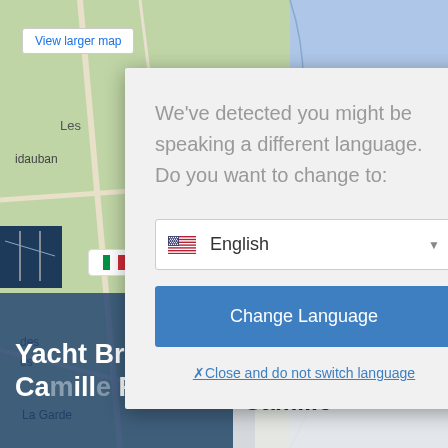[Figure (screenshot): Google Maps screenshot showing a coastal area with street map, partially obscured by a language detection modal dialog]
View larger map
We've detected you might be speaking a different language. Do you want to change to:
English
Change Language
✗Close and do not switch language
Italiano
Broker di yacht Port Camille
Yacht Brokers Camille Rayon